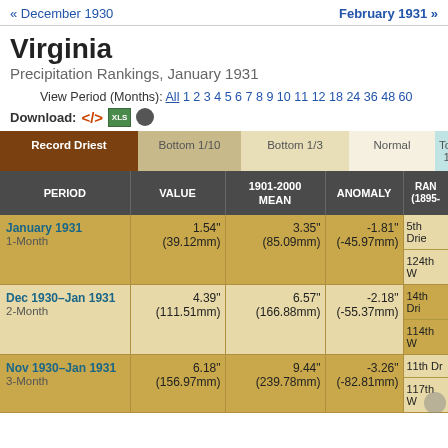« December 1930    February 1931 »
Virginia
Precipitation Rankings, January 1931
View Period (Months): All 1 2 3 4 5 6 7 8 9 10 11 12 18 24 36 48 60
Download:
| PERIOD | VALUE | 1901-2000 MEAN | ANOMALY | RANK (1895-) |
| --- | --- | --- | --- | --- |
| January 1931 / 1-Month | 1.54"
(39.12mm) | 3.35"
(85.09mm) | -1.81"
(-45.97mm) | 5th Driest
124th W |
| Dec 1930-Jan 1931 / 2-Month | 4.39"
(111.51mm) | 6.57"
(166.88mm) | -2.18"
(-55.37mm) | 14th Driest
114th W |
| Nov 1930-Jan 1931 / 3-Month | 6.18"
(156.97mm) | 9.44"
(239.78mm) | -3.26"
(-82.81mm) | 11th Driest
117th W |